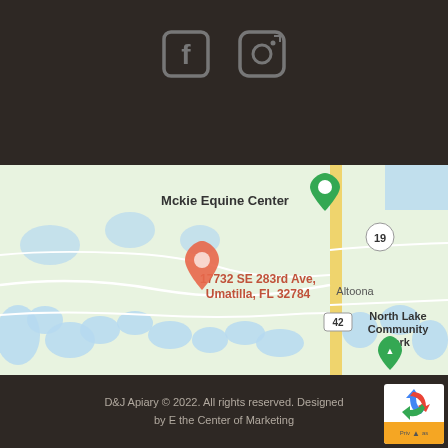[Figure (logo): Facebook and Instagram social media icons in gray on dark brown background]
[Figure (map): Google Maps screenshot showing location at 17732 SE 283rd Ave, Umatilla, FL 32784. Map shows Mckie Equine Center, Altoona, North Lake Community Park, and surrounding green/blue landscape with roads including route 19 and 42.]
D&J Apiary © 2022. All rights reserved. Designed by E the Center of Marketing